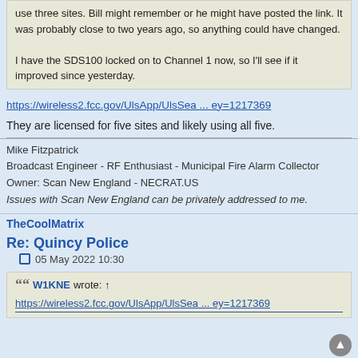use three sites. Bill might remember or he might have posted the link. It was probably close to two years ago, so anything could have changed.

I have the SDS100 locked on to Channel 1 now, so I'll see if it improved since yesterday.
https://wireless2.fcc.gov/UlsApp/UlsSea ... ey=1217369
They are licensed for five sites and likely using all five.
Mike Fitzpatrick
Broadcast Engineer - RF Enthusiast - Municipal Fire Alarm Collector
Owner: Scan New England - NECRAT.US
Issues with Scan New England can be privately addressed to me.
TheCoolMatrix
Re: Quincy Police
05 May 2022 10:30
W1KNE wrote: ↑
https://wireless2.fcc.gov/UlsApp/UlsSea ... ey=1217369